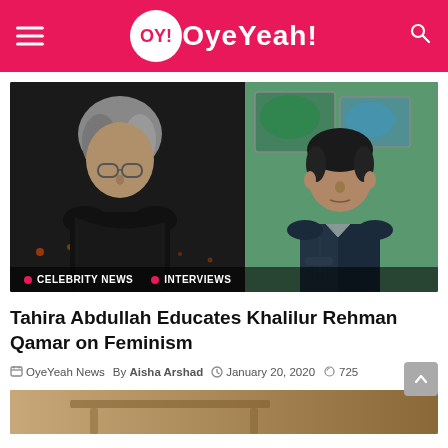OY! OyeYeah!
[Figure (photo): Split image showing two people: on the left, a woman with grey hair and glasses against a dark background; on the right, a man in a dark denim jacket against a colourful background. Tags at bottom read CELEBRITY NEWS and INTERVIEWS.]
Tahira Abdullah Educates Khalilur Rehman Qamar on Feminism
OyeYeah News  By Aisha Arshad  January 20, 2020  725
[Figure (photo): Bottom partial thumbnail of a second article image.]